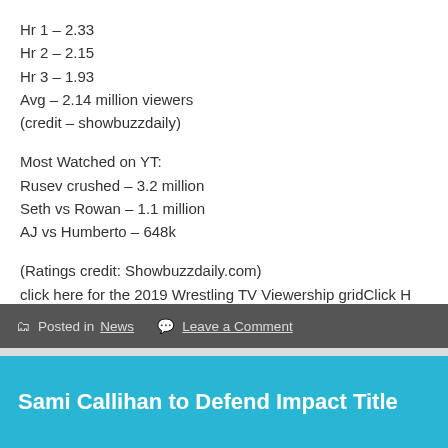Hr 1 – 2.33
Hr 2 – 2.15
Hr 3 – 1.93
Avg – 2.14 million viewers
(credit – showbuzzdaily)
Most Watched on YT:
Rusev crushed – 3.2 million
Seth vs Rowan – 1.1 million
AJ vs Humberto – 648k
(Ratings credit: Showbuzzdaily.com)
click here for the 2019 Wrestling TV Viewership gridClick H
Posted in News   Leave a Comment
Sami Callihan to Defend Impact Title